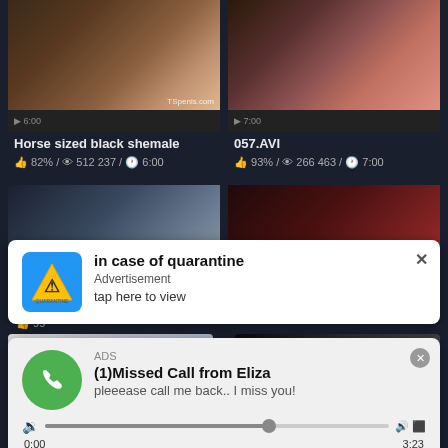[Figure (screenshot): Video thumbnail - Horse sized black shemale]
[Figure (screenshot): Video thumbnail - 057.AVI]
Horse sized black shemale
82% / 512 237 / 6:00
057.AVI
93% / 266 463 / 7:00
[Figure (screenshot): Partially visible bottom row video thumbnails]
ama
99
[Figure (screenshot): Advertisement overlay: in case of quarantine - tap here to view]
in case of quarantine
Advertisement
tap here to view
[Figure (screenshot): Advertisement overlay: (1)Missed Call from Eliza - pleeease call me back.. I miss you! with audio player]
ADS
(1)Missed Call from Eliza
pleeease call me back.. I miss you!
0:00
3:23